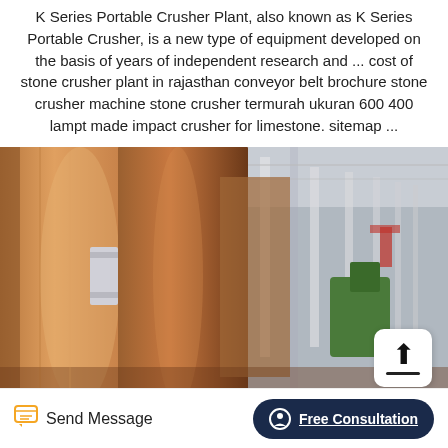K Series Portable Crusher Plant, also known as K Series Portable Crusher, is a new type of equipment developed on the basis of years of independent research and ... cost of stone crusher plant in rajasthan conveyor belt brochure stone crusher machine stone crusher termurah ukuran 600 400 lampt made impact crusher for limestone. sitemap ...
[Figure (photo): Industrial photo of large cylindrical crusher drum/roller equipment inside a manufacturing facility, with steel columns and warehouse ceiling visible in background. A white upload button with upward arrow is overlaid in bottom-right corner.]
Send Message | Free Consultation